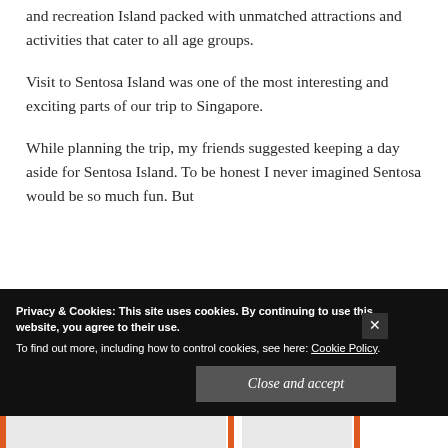and recreation Island packed with unmatched attractions and activities that cater to all age groups.
Visit to Sentosa Island was one of the most interesting and exciting parts of our trip to Singapore.
While planning the trip, my friends suggested keeping a day aside for Sentosa Island. To be honest I never imagined Sentosa would be so much fun. But
Privacy & Cookies: This site uses cookies. By continuing to use this website, you agree to their use.
To find out more, including how to control cookies, see here: Cookie Policy.
Close and accept